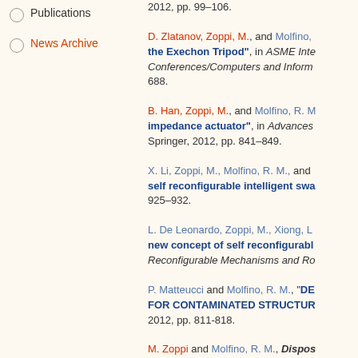Publications
News Archive
2012, pp. 99–106.
D. Zlatanov, Zoppi, M., and Molfino, ... "...the Exechon Tripod", in ASME International Conferences/Computers and Information..., 688.
B. Han, Zoppi, M., and Molfino, R. M., ..."impedance actuator", in Advances... Springer, 2012, pp. 841–849.
X. Li, Zoppi, M., Molfino, R. M., and ...self reconfigurable intelligent swa..., 925–932.
L. De Leonardo, Zoppi, M., Xiong, L., ...new concept of self reconfigurabl..., Reconfigurable Mechanisms and Ro...
P. Matteucci and Molfino, R. M., "DE...FOR CONTAMINATED STRUCTU..., 2012, pp. 811-818.
M. Zoppi and Molfino, R. M., Dispos... GE2012A000993, 2012.